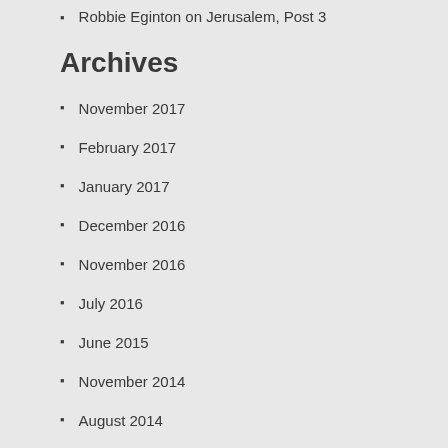Robbie Eginton on Jerusalem, Post 3
Archives
November 2017
February 2017
January 2017
December 2016
November 2016
July 2016
June 2015
November 2014
August 2014
April 2014
March 2014
January 2014
December 2013
November 2013